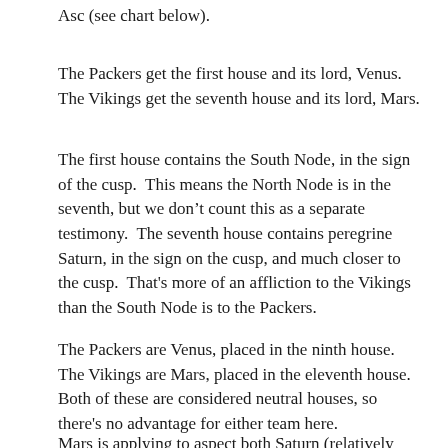Asc (see chart below).
The Packers get the first house and its lord, Venus.  The Vikings get the seventh house and its lord, Mars.
The first house contains the South Node, in the sign of the cusp.  This means the North Node is in the seventh, but we don’t count this as a separate testimony.  The seventh house contains peregrine Saturn, in the sign on the cusp, and much closer to the cusp.  That's more of an affliction to the Vikings than the South Node is to the Packers.
The Packers are Venus, placed in the ninth house.  The Vikings are Mars, placed in the eleventh house.  Both of these are considered neutral houses, so there's no advantage for either team here.
Mars is applying to aspect both Saturn (relatively malefic